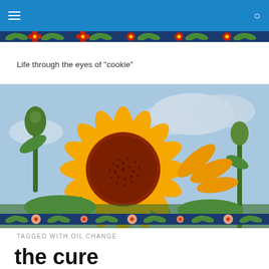navigation bar with hamburger menu and search icon
[Figure (illustration): Decorative floral strip with dark navy background, green fern leaves, and red/orange flowers]
Life through the eyes of "cookie"
[Figure (photo): Close-up photograph of a large sunflower in full bloom with orange-yellow petals and a dark reddish-brown center disk, green leaves and stems in background, partly cloudy blue sky]
[Figure (illustration): Decorative floral strip with dark navy background, green fern leaves, and peach/salmon colored flowers]
TAGGED WITH OIL CHANGE
the cure